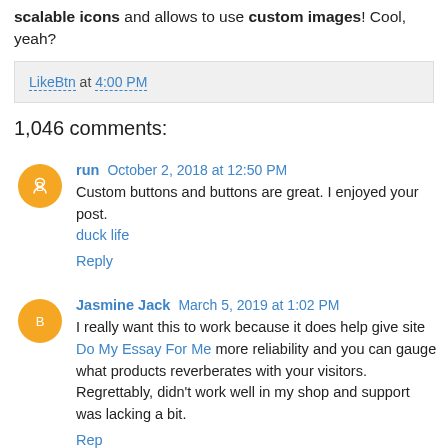scalable icons and allows to use custom images! Cool, yeah?
LikeBtn at 4:00 PM
1,046 comments:
run October 2, 2018 at 12:50 PM
Custom buttons and buttons are great. I enjoyed your post.
duck life
Reply
Jasmine Jack March 5, 2019 at 1:02 PM
I really want this to work because it does help give site Do My Essay For Me more reliability and you can gauge what products reverberates with your visitors. Regrettably, didn't work well in my shop and support was lacking a bit.
Reply